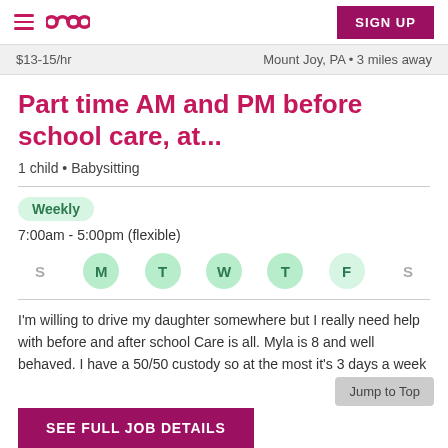SIGN UP
$13-15/hr   Mount Joy, PA • 3 miles away
Part time AM and PM before school care, at...
1 child • Babysitting
Weekly
7:00am - 5:00pm (flexible)
S M T W T F S
I'm willing to drive my daughter somewhere but I really need help with before and after school Care is all. Myla is 8 and well behaved. I have a 50/50 custody so at the most it's 3 days a week
SEE FULL JOB DETAILS